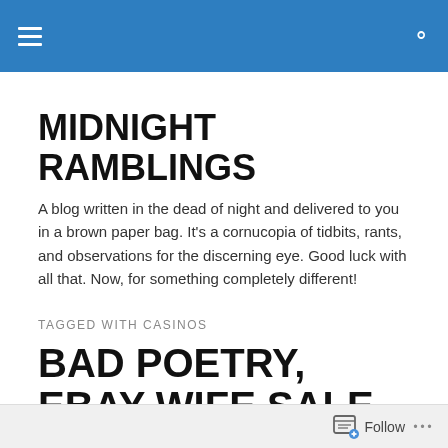Midnight Ramblings [navigation bar with hamburger menu and search icon]
MIDNIGHT RAMBLINGS
A blog written in the dead of night and delivered to you in a brown paper bag. It's a cornucopia of tidbits, rants, and observations for the discerning eye. Good luck with all that. Now, for something completely different!
TAGGED WITH CASINOS
BAD POETRY, EBAY WIFE SALE, BARKLEY GAMBLES, AND TALKING VODKA
Follow ...